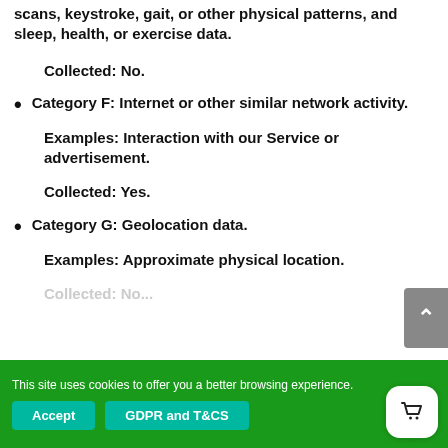scans, keystroke, gait, or other physical patterns, and sleep, health, or exercise data.
Collected: No.
Category F: Internet or other similar network activity.
Examples: Interaction with our Service or advertisement.
Collected: Yes.
Category G: Geolocation data.
Examples: Approximate physical location.
Collected: No.
This site uses cookies to offer you a better browsing experience.
Accept
GDPR and T&CS